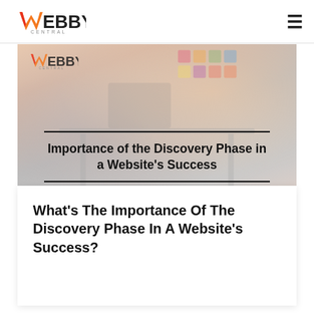WEBBY CENTRAL
[Figure (photo): Blurred office/team background image showing people working at a table, with sticky notes on a wall in the background. A watermark logo 'WEBBY CENTRAL' appears in the top-left corner of the image. Overlaid in the center is a bold title 'Importance of the Discovery Phase in a Website's Success' with horizontal rules above and below the text.]
What's The Importance Of The Discovery Phase In A Website's Success?